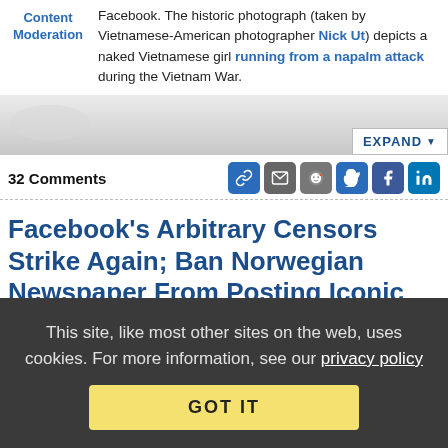Facebook. The historic photograph (taken by Vietnamese-American photographer Nick Ut) depicts a naked Vietnamese girl running from a napalm attack during the Vietnam War.
[Figure (screenshot): Blurred/greyed image expand area with EXPAND button]
32 Comments
Facebook's Arbitrary Censors Strike Again; Ban Norwegian Newspaper From Posting Iconic Vietnam War Photo
from the moderation-is-difficult dept
This site, like most other sites on the web, uses cookies. For more information, see our privacy policy  GOT IT